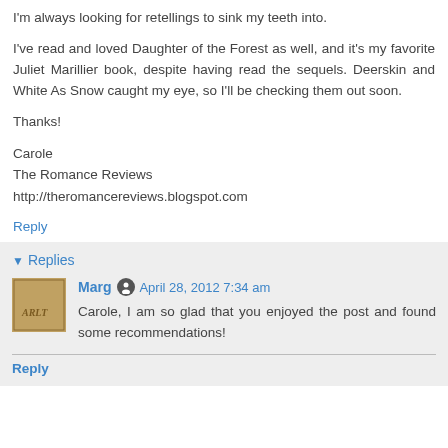I'm always looking for retellings to sink my teeth into.
I've read and loved Daughter of the Forest as well, and it's my favorite Juliet Marillier book, despite having read the sequels. Deerskin and White As Snow caught my eye, so I'll be checking them out soon.
Thanks!
Carole
The Romance Reviews
http://theromancereviews.blogspot.com
Reply
Replies
Marg — April 28, 2012 7:34 am
Carole, I am so glad that you enjoyed the post and found some recommendations!
Reply